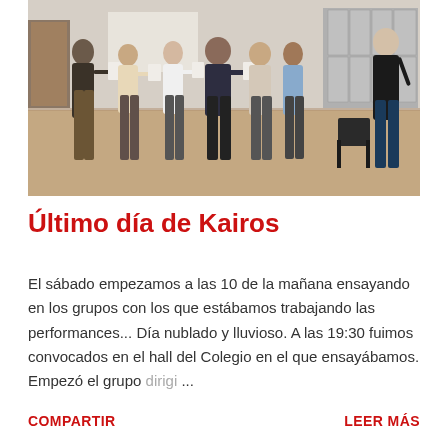[Figure (photo): Group of students standing in a large room/gym holding papers, rehearsing a performance. A teacher or instructor stands to the right.]
Último día de Kairos
El sábado empezamos a las 10 de la mañana ensayando en los grupos con los que estábamos trabajando las performances... Día nublado y lluvioso. A las 19:30 fuimos convocados en el hall del Colegio en el que ensayábamos. Empezó el grupo dirigi ...
COMPARTIR
LEER MÁS